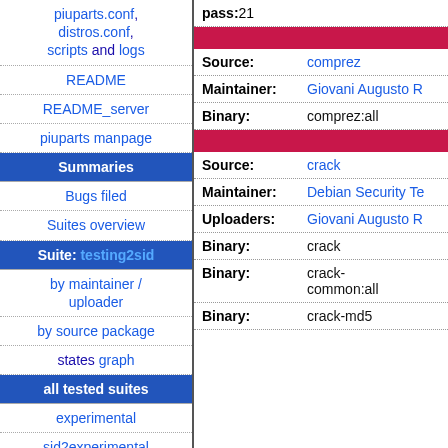piuparts.conf, distros.conf, scripts and logs
README
README_server
piuparts manpage
Summaries
Bugs filed
Suites overview
Suite: testing2sid
by maintainer / uploader
by source package
states graph
all tested suites
experimental
sid2experimental
sid
sid-strict
| Field | Value |
| --- | --- |
| pass: | 21 |
| Source: | comprez |
| Maintainer: | Giovani Augusto R |
| Binary: | comprez:all |
| Source: | crack |
| Maintainer: | Debian Security Te |
| Uploaders: | Giovani Augusto R |
| Binary: | crack |
| Binary: | crack-common:all |
| Binary: | crack-md5 |